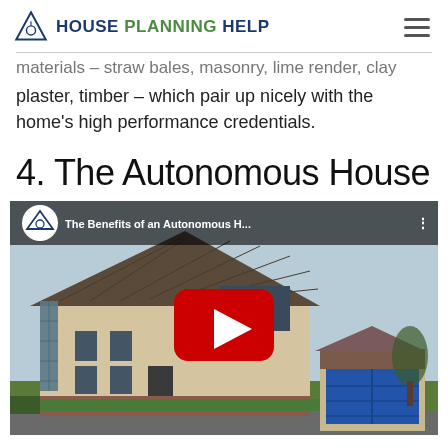House Planning Help
materials – straw bales, masonry, lime render, clay plaster, timber – which pair up nicely with the home's high performance credentials.
4. The Autonomous House
[Figure (screenshot): YouTube video thumbnail showing a house exterior titled 'The Benefits of an Autonomous H...' with a red play button overlay. The house has a steep pitched roof with slate tiles, rendered walls, solar panels on the side, and a detached garage with a blue door.]